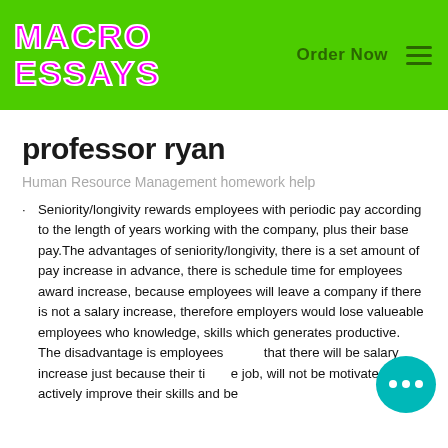MACRO ESSAYS | Order Now
professor ryan
Human Resource Management homework help
Seniority/longivity rewards employees with periodic pay according to the length of years working with the company, plus their base pay.The advantages of seniority/longivity, there is a set amount of pay increase in advance, there is schedule time for employees award increase, because employees will leave a company if there is not a salary increase, therefore employers would lose valueable employees who knowledge, skills which generates productive. The disadvantage is employees knowing that there will be salary increase just because their time on the job, will not be motivated to actively improve their skills and be